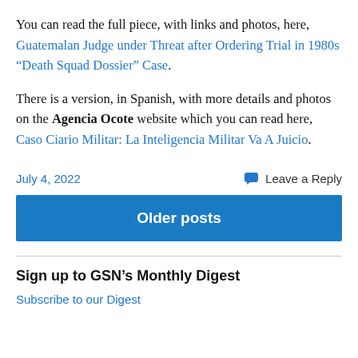You can read the full piece, with links and photos, here, Guatemalan Judge under Threat after Ordering Trial in 1980s “Death Squad Dossier” Case.
There is a version, in Spanish, with more details and photos on the Agencia Ocote website which you can read here, Caso Ciario Militar: La Inteligencia Militar Va A Juicio.
July 4, 2022
Leave a Reply
Older posts
Sign up to GSN’s Monthly Digest
Subscribe to our Digest